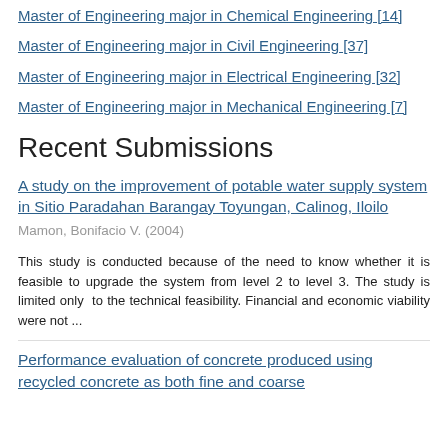Master of Engineering major in Chemical Engineering [14]
Master of Engineering major in Civil Engineering [37]
Master of Engineering major in Electrical Engineering [32]
Master of Engineering major in Mechanical Engineering [7]
Recent Submissions
A study on the improvement of potable water supply system in Sitio Paradahan Barangay Toyungan, Calinog, Iloilo
Mamon, Bonifacio V. (2004)
This study is conducted because of the need to know whether it is feasible to upgrade the system from level 2 to level 3. The study is limited only to the technical feasibility. Financial and economic viability were not ...
Performance evaluation of concrete produced using recycled concrete as both fine and coarse